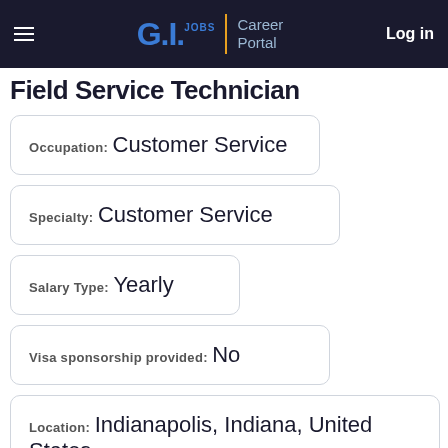G.I. Jobs | Career Portal  Log in
Field Service Technician
Occupation: Customer Service
Specialty: Customer Service
Salary Type: Yearly
Visa sponsorship provided: No
Location: Indianapolis, Indiana, United States